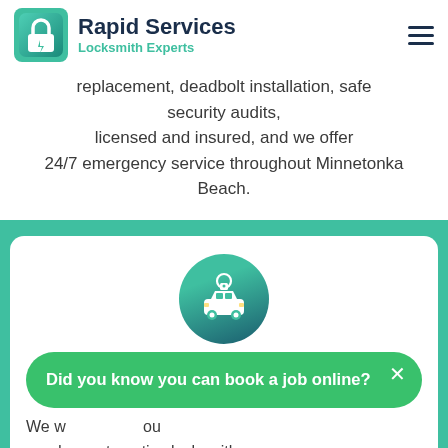[Figure (logo): Rapid Services Locksmith Experts logo with lock icon]
replacement, deadbolt installation, safe security audits, licensed and insured, and we offer 24/7 emergency service throughout Minnetonka Beach.
[Figure (illustration): Circular icon with car and lock symbol representing automotive locksmith services]
Did you know you can book a job online?
We will help you need an automotive locksmith as soon as possible, whether the key is sitting in your driver's seat, the ignition, or your trunk. With